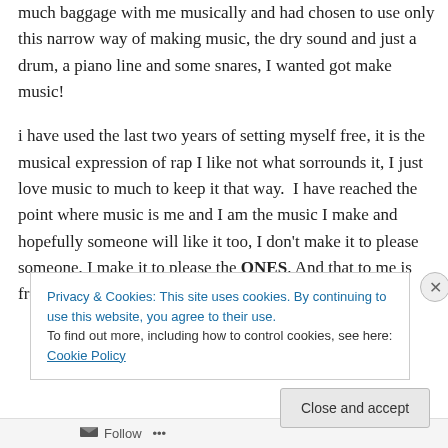much baggage with me musically and had chosen to use only this narrow way of making music, the dry sound and just a drum, a piano line and some snares, I wanted got make music!
i have used the last two years of setting myself free, it is the musical expression of rap I like not what sorrounds it, I just love music to much to keep it that way.  I have reached the point where music is me and I am the music I make and hopefully someone will like it too, I don't make it to please someone, I make it to please the ONES. And that to me is freedom.
Privacy & Cookies: This site uses cookies. By continuing to use this website, you agree to their use.
To find out more, including how to control cookies, see here: Cookie Policy
Close and accept
Follow